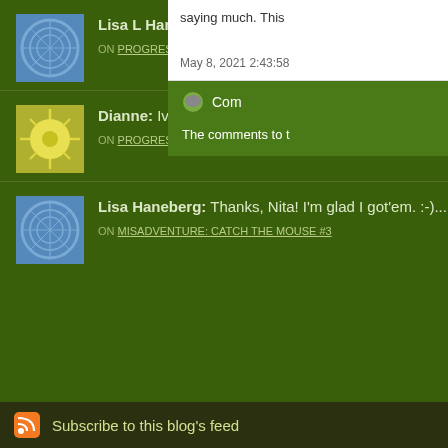Lisa L Haneberg: Very good point! If I can mend all my broken pa... more »
ON PROGRESS AND MOMENTUM: BROKEN WINDOWS THEORY - APPLIED TO OURSELVES
Dianne: Ive been thinking the same thing. Its been an e... more »
ON PROGRESS AND MOMENTUM: BROKEN WINDOWS THEORY - APPLIED TO OURSELVES
Lisa Haneberg: Thanks, Nita! I'm glad I got'em. :-)... more »
ON MISADVENTURE: CATCH THE MOUSE #3
saying much. This
May 8, 2021 2:43:58
Com
The comments to t
Subscribe to this blog's feed